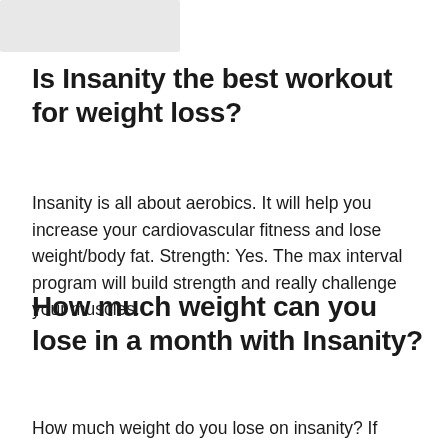[Figure (other): Small image or logo placeholder in the top-left corner]
Is Insanity the best workout for weight loss?
Insanity is all about aerobics. It will help you increase your cardiovascular fitness and lose weight/body fat. Strength: Yes. The max interval program will build strength and really challenge your muscles.
How much weight can you lose in a month with Insanity?
How much weight do you lose on insanity? If